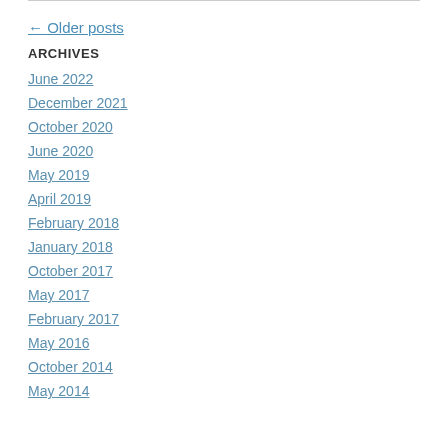← Older posts
ARCHIVES
June 2022
December 2021
October 2020
June 2020
May 2019
April 2019
February 2018
January 2018
October 2017
May 2017
February 2017
May 2016
October 2014
May 2014